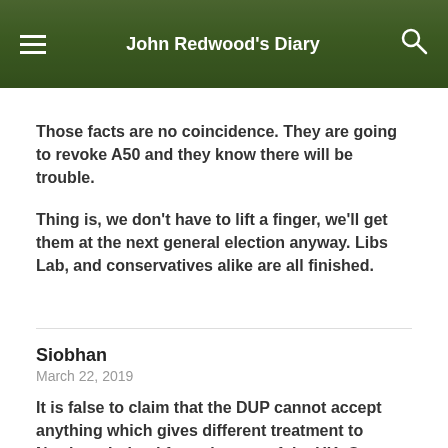John Redwood's Diary
Those facts are no coincidence. They are going to revoke A50 and they know there will be trouble.
Thing is, we don't have to lift a finger, we'll get them at the next general election anyway. Libs Lab, and conservatives alike are all finished.
Siobhan
March 22, 2019
It is false to claim that the DUP cannot accept anything which gives different treatment to Northern Ireland from the rest of the UK. Go check Northern Irelands laws on abortion, gay...